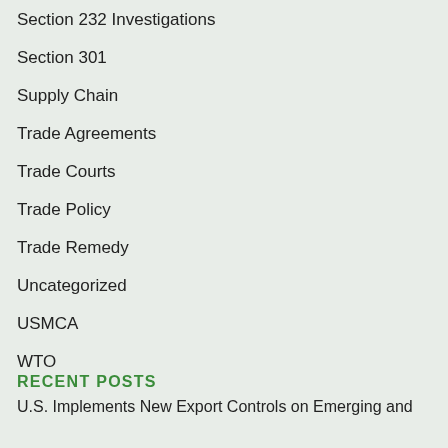Section 232 Investigations
Section 301
Supply Chain
Trade Agreements
Trade Courts
Trade Policy
Trade Remedy
Uncategorized
USMCA
WTO
RECENT POSTS
U.S. Implements New Export Controls on Emerging and